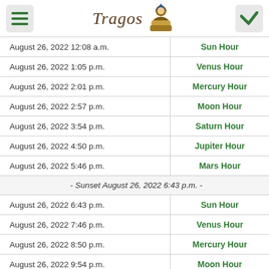Tragos
| Date/Time | Planetary Hour |
| --- | --- |
| August 26, 2022 12:08 a.m. | Sun Hour |
| August 26, 2022 1:05 p.m. | Venus Hour |
| August 26, 2022 2:01 p.m. | Mercury Hour |
| August 26, 2022 2:57 p.m. | Moon Hour |
| August 26, 2022 3:54 p.m. | Saturn Hour |
| August 26, 2022 4:50 p.m. | Jupiter Hour |
| August 26, 2022 5:46 p.m. | Mars Hour |
| - Sunset August 26, 2022 6:43 p.m. - |  |
| August 26, 2022 6:43 p.m. | Sun Hour |
| August 26, 2022 7:46 p.m. | Venus Hour |
| August 26, 2022 8:50 p.m. | Mercury Hour |
| August 26, 2022 9:54 p.m. | Moon Hour |
| August 26, 2022 10:57 p.m. | Saturn Hour |
| August 27, 2022 0:01 a.m. | Jupiter Hour |